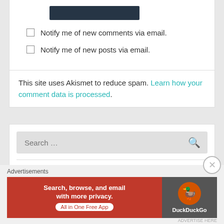[Figure (screenshot): Dark teal/navy submit button bar]
Notify me of new comments via email.
Notify me of new posts via email.
This site uses Akismet to reduce spam. Learn how your comment data is processed.
[Figure (screenshot): Search bar with search icon]
NEXT F1 RACE
Austrian Grand Prix, Red Bull Ring
Advertisements
[Figure (screenshot): DuckDuckGo advertisement banner: Search, browse, and email with more privacy. All in One Free App]